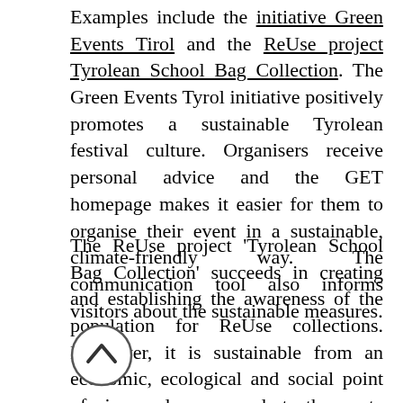Examples include the initiative Green Events Tirol and the ReUse project Tyrolean School Bag Collection. The Green Events Tyrol initiative positively promotes a sustainable Tyrolean festival culture. Organisers receive personal advice and the GET homepage makes it easier for them to organise their event in a sustainable, climate-friendly way. The communication tool also informs visitors about the sustainable measures.
The ReUse project 'Tyrolean School Bag Collection' succeeds in creating and establishing the awareness of the population for ReUse collections. Moreover, it is sustainable from an economic, ecological and social point of view and corresponds to the waste hierarchy of the AWG 2002 = preparation for reuse with social added value. Objectives: Waste prevention social value creation = ReUse collection and raising awareness of the population for ReUse collections.